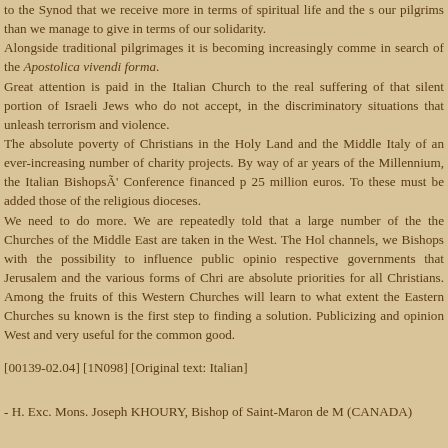to the Synod that we receive more in terms of spiritual life and the s our pilgrims than we manage to give in terms of our solidarity. Alongside traditional pilgrimages it is becoming increasingly comme in search of the Apostolica vivendi forma. Great attention is paid in the Italian Church to the real suffering of that silent portion of Israeli Jews who do not accept, in the discriminatory situations that unleash terrorism and violence. The absolute poverty of Christians in the Holy Land and the Middle Italy of an ever-increasing number of charity projects. By way of ar years of the Millennium, the Italian BishopsÃ' Conference financed p 25 million euros. To these must be added those of the religious dioceses. We need to do more. We are repeatedly told that a large number of the the Churches of the Middle East are taken in the West. The Hol channels, we Bishops with the possibility to influence public opinio respective governments that Jerusalem and the various forms of Chri are absolute priorities for all Christians. Among the fruits of this Western Churches will learn to what extent the Eastern Churches su known is the first step to finding a solution. Publicizing and opinion West and very useful for the common good.
[00139-02.04] [1N098] [Original text: Italian]
- H. Exc. Mons. Joseph KHOURY, Bishop of Saint-Maron de M (CANADA)